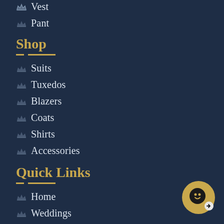Vest
Pant
Shop
Suits
Tuxedos
Blazers
Coats
Shirts
Accessories
Quick Links
Home
Weddings
Schedule Consultation
About Us
How it Works